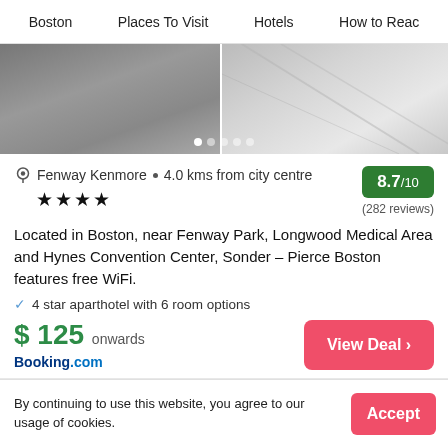Boston  •  Places To Visit  •  Hotels  •  How to Reac
[Figure (photo): Hotel interior photo split: left side dark staircase/hallway, right side bright modern lobby with large windows and stairs. Pagination dots at bottom.]
Fenway Kenmore  •  4.0 kms from city centre
8.7 /10
★★★★
(282 reviews)
Located in Boston, near Fenway Park, Longwood Medical Area and Hynes Convention Center, Sonder – Pierce Boston features free WiFi.
4 star aparthotel with 6 room options
$ 125 onwards
Booking.com
View Deal >
By continuing to use this website, you agree to our usage of cookies.
Accept